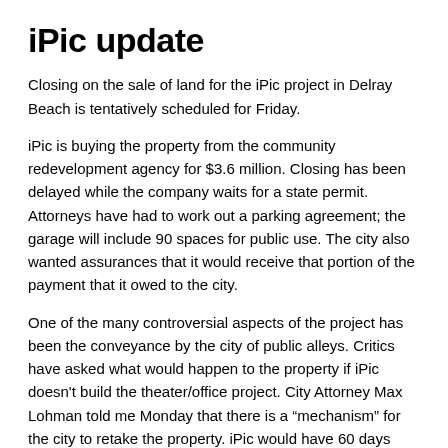iPic update
Closing on the sale of land for the iPic project in Delray Beach is tentatively scheduled for Friday.
iPic is buying the property from the community redevelopment agency for $3.6 million. Closing has been delayed while the company waits for a state permit. Attorneys have had to work out a parking agreement; the garage will include 90 spaces for public use. The city also wanted assurances that it would receive that portion of the payment that it owed to the city.
One of the many controversial aspects of the project has been the conveyance by the city of public alleys. Critics have asked what would happen to the property if iPic doesn't build the theater/office project. City Attorney Max Lohman told me Monday that there is a “mechanism” for the city to retake the property. iPic would have 60 days from closing to begin construction.